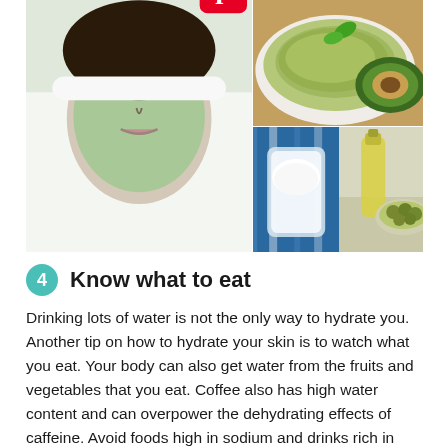[Figure (photo): Collage of 5 photos: top-left shows avocado and guacamole in a white bowl, top-right shows woman with green face mask lying down with Pinterest logo badge, bottom-left shows white yogurt in a glass, bottom-center shows olive oil bottle and green olives, bottom-right shows spa stones in wooden bowl with candles and wooden utensils.]
4 Know what to eat
Drinking lots of water is not the only way to hydrate you. Another tip on how to hydrate your skin is to watch what you eat. Your body can also get water from the fruits and vegetables that you eat. Coffee also has high water content and can overpower the dehydrating effects of caffeine. Avoid foods high in sodium and drinks rich in